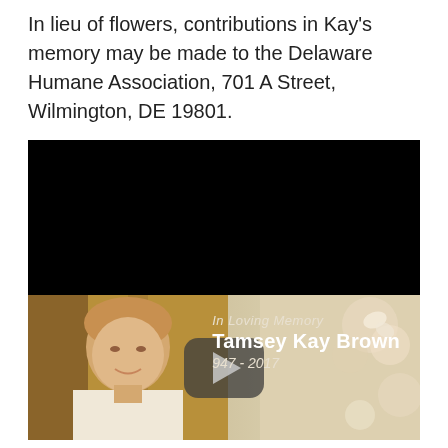In lieu of flowers, contributions in Kay's memory may be made to the Delaware Humane Association, 701 A Street, Wilmington, DE 19801.
[Figure (screenshot): A video player embedded in a memorial/obituary page. The top half of the player is black (paused/loading). The bottom half shows a photo of a middle-aged woman smiling, with floral decor in the background. A play button overlay is centered. Text overlay reads 'In Loving Memory / Tamsey Kay Brown / 947 - 2017'.]